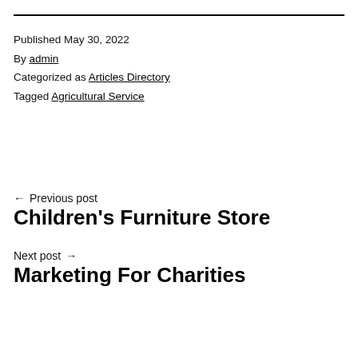Published May 30, 2022
By admin
Categorized as Articles Directory
Tagged Agricultural Service
← Previous post
Children's Furniture Store
Next post →
Marketing For Charities